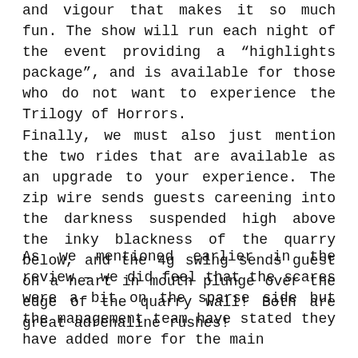and vigour that makes it so much fun. The show will run each night of the event providing a “highlights package”, and is available for those who do not want to experience the Trilogy of Horrors. Finally, we must also just mention the two rides that are available as an upgrade to your experience. The zip wire sends guests careening into the darkness suspended high above the inky blackness of the quarry below, and the 4g swing sends guest on a heart in mouth plunge over the edge of the quarry wall! Both are great adrenaline rushes!
As we mentioned earlier in the review – we did feel that the scares were a bit on the sparse side but the management team have stated they have added more for the main